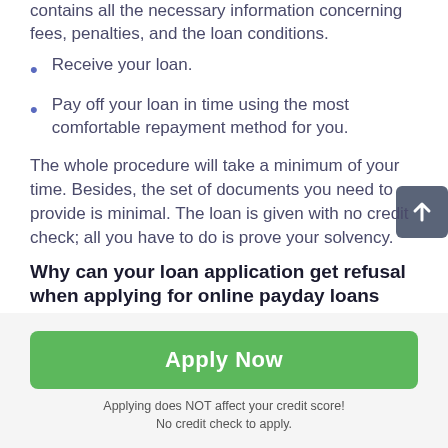contains all the necessary information concerning fees, penalties, and the loan conditions.
Receive your loan.
Pay off your loan in time using the most comfortable repayment method for you.
The whole procedure will take a minimum of your time. Besides, the set of documents you need to provide is minimal. The loan is given with no credit check; all you have to do is prove your solvency.
Why can your loan application get refusal when applying for online payday loans Emery in South Dakota SD?
Apply Now
Applying does NOT affect your credit score!
No credit check to apply.